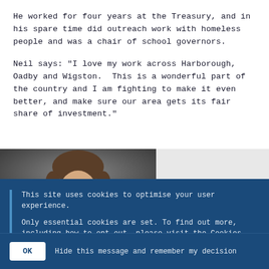He worked for four years at the Treasury, and in his spare time did outreach work with homeless people and was a chair of school governors.
Neil says: "I love my work across Harborough, Oadby and Wigston.  This is a wonderful part of the country and I am fighting to make it even better, and make sure our area gets its fair share of investment."
[Figure (photo): Headshot photo of a man with short brown hair against a dark grey background]
This site uses cookies to optimise your user experience.
Only essential cookies are set. To find out more, including how to opt out, please visit the Cookies page.
OK   Hide this message and remember my decision